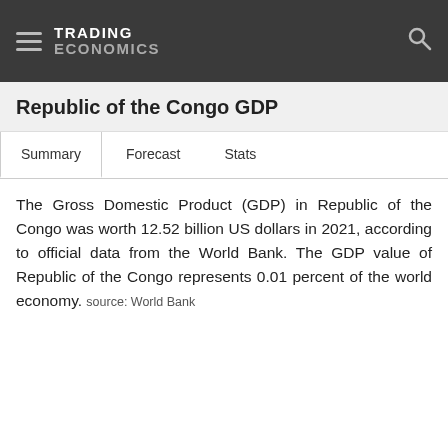TRADING ECONOMICS
Republic of the Congo GDP
Summary   Forecast   Stats
The Gross Domestic Product (GDP) in Republic of the Congo was worth 12.52 billion US dollars in 2021, according to official data from the World Bank. The GDP value of Republic of the Congo represents 0.01 percent of the world economy. source: World Bank